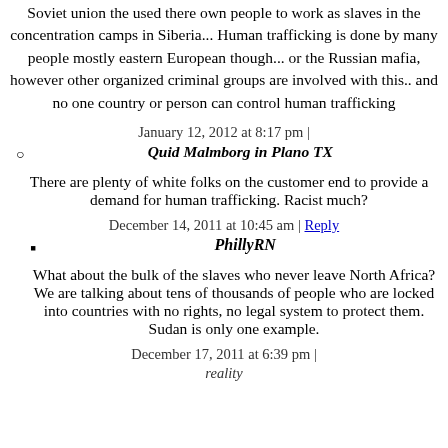Soviet union the used there own people to work as slaves in the concentration camps in Siberia... Human trafficking is done by many people mostly eastern European though... or the Russian mafia, however other organized criminal groups are involved with this.. and no one country or person can control human trafficking
January 12, 2012 at 8:17 pm |
Quid Malmborg in Plano TX
There are plenty of white folks on the customer end to provide a demand for human trafficking. Racist much?
December 14, 2011 at 10:45 am | Reply
PhillyRN
What about the bulk of the slaves who never leave North Africa? We are talking about tens of thousands of people who are locked into countries with no rights, no legal system to protect them. Sudan is only one example.
December 17, 2011 at 6:39 pm |
reality